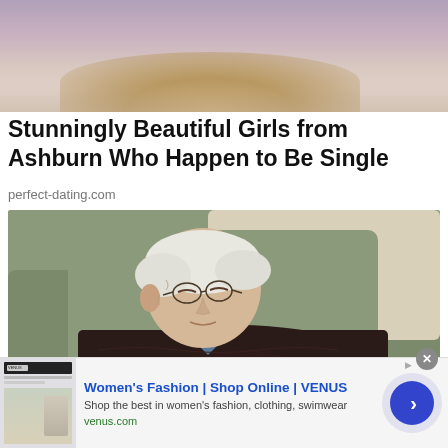[Figure (photo): Cropped photo showing bottom portion of a blonde woman's face/hair against a blurred background]
Stunningly Beautiful Girls from Ashburn Who Happen to Be Single
perfect-dating.com
[Figure (photo): Elderly man with white hair and glasses sleeping in a green armchair with a pillow, arms crossed, wearing a dark sweater and blue plaid shirt]
[Figure (screenshot): Advertisement banner: Women's Fashion | Shop Online | VENUS — Shop the best in women's fashion, clothing, swimwear — venus.com]
Women's Fashion | Shop Online | VENUS
Shop the best in women's fashion, clothing, swimwear
venus.com